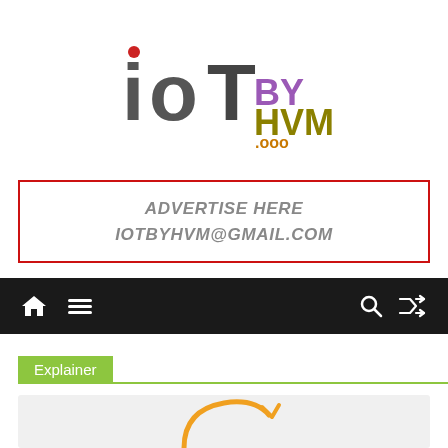[Figure (logo): IoTbyHVM logo with red dot above lowercase i, gray IoT text, purple BY, olive HVM, and .ooo in orange/gold]
Advertise here
iotbyhvm@gmail.com
[Figure (screenshot): Dark navigation bar with home icon, hamburger menu, search icon, and shuffle icon]
Explainer
[Figure (illustration): Gray content area with partial orange circular arrow illustration at the bottom]